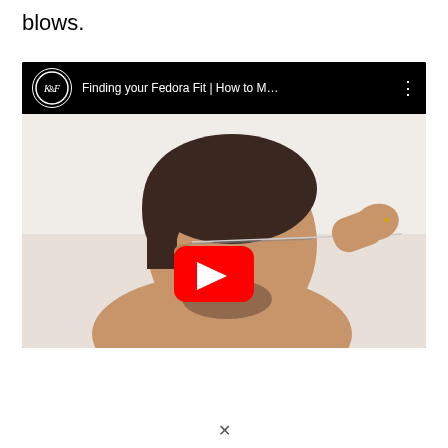blows.
[Figure (screenshot): YouTube video embed showing 'Finding your Fedora Fit | How to M...' with K&F channel logo. Thumbnail shows a man holding a wire measuring tape around his head, with a red YouTube play button overlay in the center.]